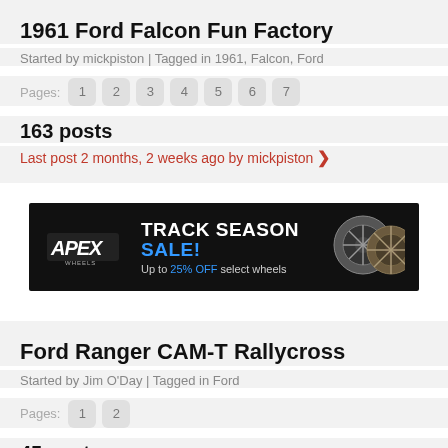1961 Ford Falcon Fun Factory
Started by mickpiston | Tagged in 1961, Falcon, Ford
Pages: 1 2 3 4 5 6 7
163 posts
Last post 2 months, 2 weeks ago by mickpiston ❯
[Figure (other): APEX Wheels advertisement banner: Track Season Sale! Up to 25% OFF select wheels. Black background with white and blue text, APEX logo, and wheel images.]
Ford Ranger CAM-T Rallycross
Started by Jim O'Day | Tagged in Ford
Pages: 1 2
45 posts
Last post 2 months, 3 weeks ago by Jim O'Day ❯